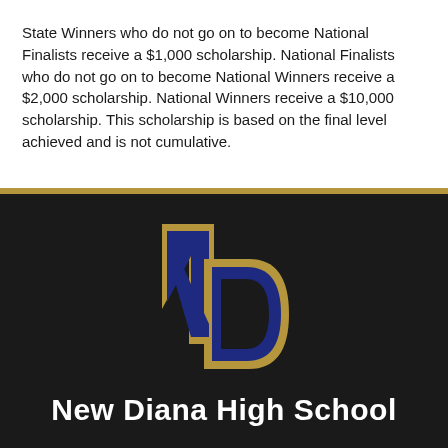State Winners who do not go on to become National Finalists receive a $1,000 scholarship. National Finalists who do not go on to become National Winners receive a $2,000 scholarship. National Winners receive a $10,000 scholarship. This scholarship is based on the final level achieved and is not cumulative.
[Figure (logo): New Diana High School logo — interlocking ND letters in dark navy blue with gold outline on a dark background]
New Diana High School